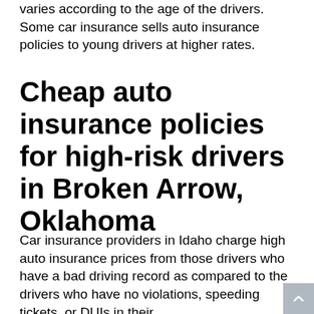varies according to the age of the drivers. Some car insurance sells auto insurance policies to young drivers at higher rates.
Cheap auto insurance policies for high-risk drivers in Broken Arrow, Oklahoma
Car insurance providers in Idaho charge high auto insurance prices from those drivers who have a bad driving record as compared to the drivers who have no violations, speeding tickets, or DUIs in their